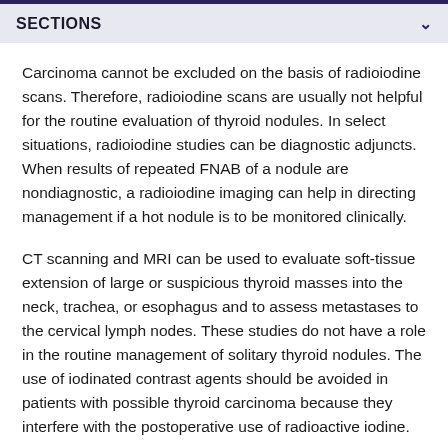SECTIONS
Carcinoma cannot be excluded on the basis of radioiodine scans. Therefore, radioiodine scans are usually not helpful for the routine evaluation of thyroid nodules. In select situations, radioiodine studies can be diagnostic adjuncts. When results of repeated FNAB of a nodule are nondiagnostic, a radioiodine imaging can help in directing management if a hot nodule is to be monitored clinically.
CT scanning and MRI can be used to evaluate soft-tissue extension of large or suspicious thyroid masses into the neck, trachea, or esophagus and to assess metastases to the cervical lymph nodes. These studies do not have a role in the routine management of solitary thyroid nodules. The use of iodinated contrast agents should be avoided in patients with possible thyroid carcinoma because they interfere with the postoperative use of radioactive iodine.